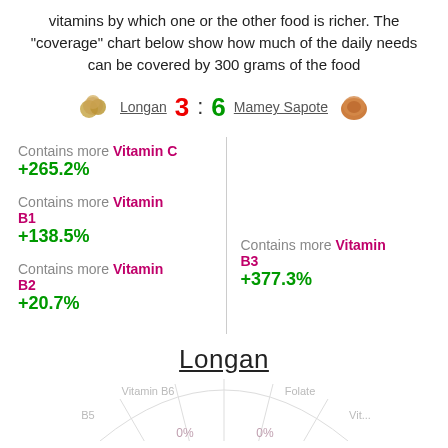vitamins by which one or the other food is richer. The "coverage" chart below show how much of the daily needs can be covered by 300 grams of the food
Longan 3 : 6 Mamey Sapote
Contains more Vitamin C +265.2%
Contains more Vitamin B1 +138.5%
Contains more Vitamin B2 +20.7%
Contains more Vitamin B3 +377.3%
Longan
[Figure (radar-chart): Partial radar/spider chart showing vitamin coverage for Longan, with axes for Vitamin B6, Folate, and other vitamins. Values at 0% visible at bottom.]